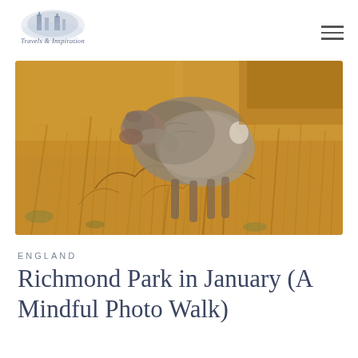Travels & Inspiration
[Figure (photo): A deer standing among dry golden grass and dried vegetation in Richmond Park, viewed from behind, showing its grey-brown coat. The background is a warm amber/tan color of dried winter grass and leaves.]
ENGLAND
Richmond Park in January (A Mindful Photo Walk)